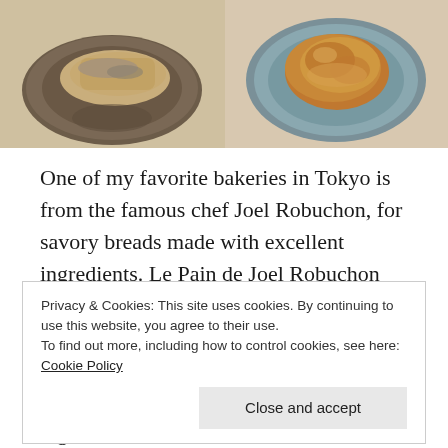[Figure (photo): Two food photos side by side: left shows a piece of savory bread/pastry on a dark decorative plate on a wooden surface; right shows a golden-brown baked item on a blue-gray ceramic plate.]
One of my favorite bakeries in Tokyo is from the famous chef Joel Robuchon, for savory breads made with excellent ingredients. Le Pain de Joel Robuchon has recently opened near Shinjuku station in the NEWoMaN mall. Imagine one of France's top chefs creating breads and sweets using French and Japanese ingredients? I love the l'Atelier de Joel
Privacy & Cookies: This site uses cookies. By continuing to use this website, you agree to their use.
To find out more, including how to control cookies, see here: Cookie Policy
Close and accept